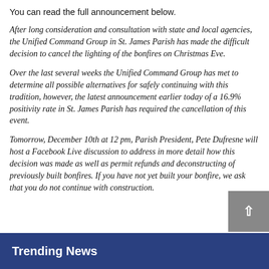You can read the full announcement below.
After long consideration and consultation with state and local agencies, the Unified Command Group in St. James Parish has made the difficult decision to cancel the lighting of the bonfires on Christmas Eve.
Over the last several weeks the Unified Command Group has met to determine all possible alternatives for safely continuing with this tradition, however, the latest announcement earlier today of a 16.9% positivity rate in St. James Parish has required the cancellation of this event.
Tomorrow, December 10th at 12 pm, Parish President, Pete Dufresne will host a Facebook Live discussion to address in more detail how this decision was made as well as permit refunds and deconstructing of previously built bonfires. If you have not yet built your bonfire, we ask that you do not continue with construction.
Trending News